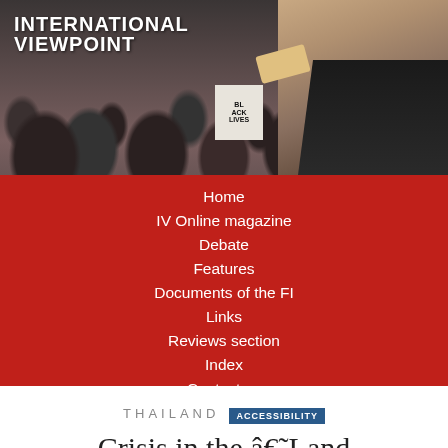[Figure (photo): Header banner photo of a protest crowd with people wearing face masks, one person holding a megaphone in the foreground on the right side. The International Viewpoint logo is overlaid in the top left.]
INTERNATIONAL VIEWPOINT
Home
IV Online magazine
Debate
Features
Documents of the FI
Links
Reviews section
Index
Contact us
THAILAND  ACCESSIBILITY
Crisis in the â€˜Land